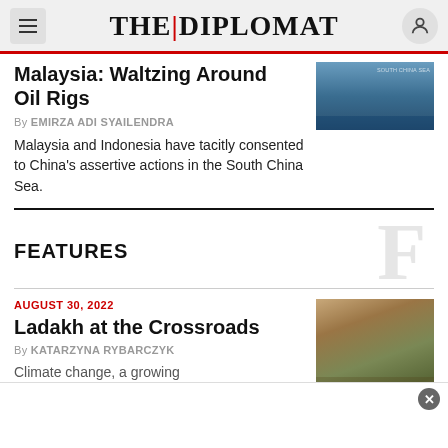THE|DIPLOMAT
Malaysia: Waltzing Around Oil Rigs
By EMIRZA ADI SYAILENDRA
Malaysia and Indonesia have tacitly consented to China's assertive actions in the South China Sea.
FEATURES
AUGUST 30, 2022
Ladakh at the Crossroads
By KATARZYNA RYBARCZYK
Climate change, a growing